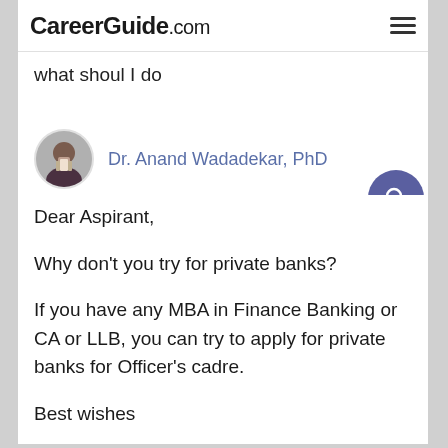CareerGuide.com
what shoul I do
Dr. Anand Wadadekar, PhD
Dear Aspirant,

Why don't you try for private banks?

If you have any MBA in Finance Banking or CA or LLB, you can try to apply for private banks for Officer's cadre.

Best wishes